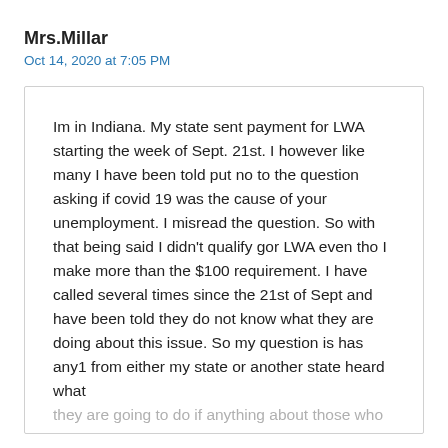Mrs.Millar
Oct 14, 2020 at 7:05 PM
Im in Indiana. My state sent payment for LWA starting the week of Sept. 21st. I however like many I have been told put no to the question asking if covid 19 was the cause of your unemployment. I misread the question. So with that being said I didn't qualify gor LWA even tho I make more than the $100 requirement. I have called several times since the 21st of Sept and have been told they do not know what they are doing about this issue. So my question is has any1 from either my state or another state heard what they are going to do if anything about those who misread the question? I was really looking